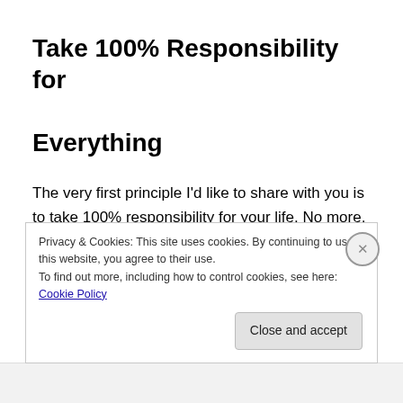Take 100% Responsibility for Everything
The very first principle I'd like to share with you is to take 100% responsibility for your life. No more, no less. Do you even know what this means? Let me ask you something, do you think that you are taking 100% responsibility for
Privacy & Cookies: This site uses cookies. By continuing to use this website, you agree to their use.
To find out more, including how to control cookies, see here: Cookie Policy
Close and accept